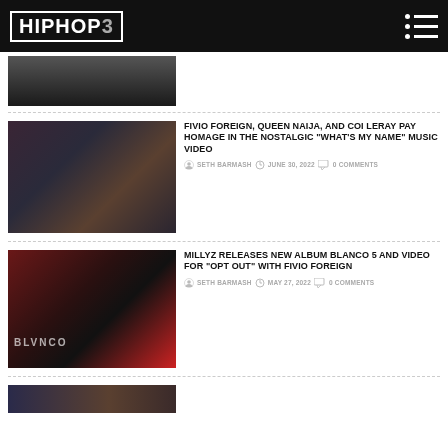HIPHOP3
[Figure (photo): Partial top image showing a dark car scene]
FIVIO FOREIGN, QUEEN NAIJA, AND COI LERAY PAY HOMAGE IN THE NOSTALGIC “WHAT’S MY NAME” MUSIC VIDEO
SETH BARMASH  JUNE 30, 2022  0 COMMENTS
[Figure (photo): Three artists posing together in camouflage outfits: Queen Naija, Fivio Foreign, and Coi Leray]
MILLYZ RELEASES NEW ALBUM BLANCO 5 AND VIDEO FOR “OPT OUT” WITH FIVIO FOREIGN
SETH BARMASH  MAY 27, 2022  0 COMMENTS
[Figure (photo): Millyz album art for BLVNCO with bold red and white design, rapper with microphone and tattoos]